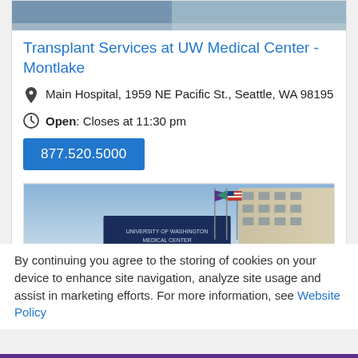[Figure (photo): Top partial photo strip of a person outdoors, cropped]
Transplant Services at UW Medical Center - Montlake
Main Hospital, 1959 NE Pacific St., Seattle, WA 98195
Open: Closes at 11:30 pm
877.520.5000
[Figure (photo): Photo of UW Medical Center building exterior with flags including a purple UW flag and American flag against blue sky]
By continuing you agree to the storing of cookies on your device to enhance site navigation, analyze site usage and assist in marketing efforts. For more information, see Website Policy